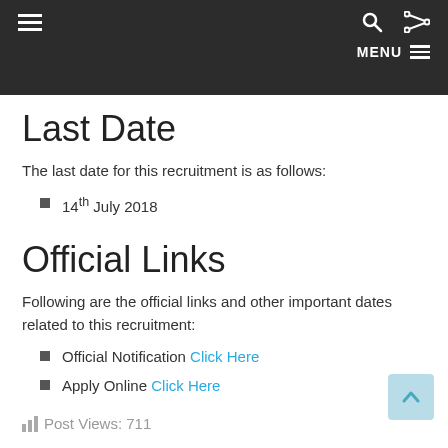Navigation bar with hamburger menu, search icon, shuffle icon, and MENU label
Last Date
The last date for this recruitment is as follows:
14th July 2018
Official Links
Following are the official links and other important dates related to this recruitment:
Official Notification Click Here
Apply Online Click Here
Post Views: 711